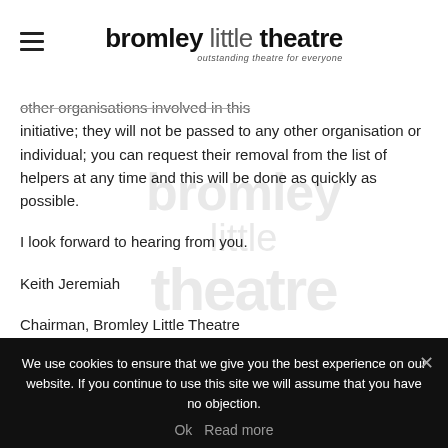bromley little theatre — outstanding theatre for everyone
other organisations involved in this initiative; they will not be passed to any other organisation or individual; you can request their removal from the list of helpers at any time and this will be done as quickly as possible.
I look forward to hearing from you.
Keith Jeremiah
Chairman, Bromley Little Theatre
We use cookies to ensure that we give you the best experience on our website. If you continue to use this site we will assume that you have no objection.